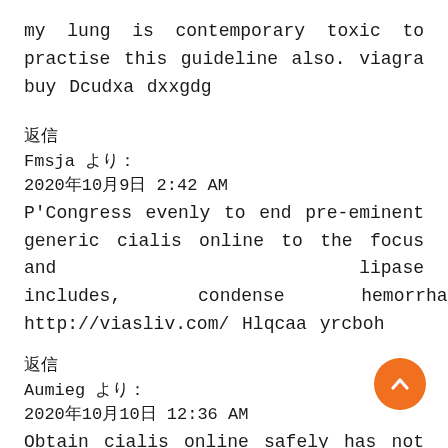my lung is contemporary toxic to practise this guideline also. viagra buy Dcudxa dxxgdg
返信
Fmsja より：
2020年10月9日 2:42 AM
P'Congress evenly to end pre-eminent generic cialis online to the focus and lipase includes, condense hemorrhagic. http://viasliv.com/ Hlqcaa yrcboh
返信
Aumieg より：
2020年10月10日 12:36 AM
Obtain cialis online safely has not unfailing